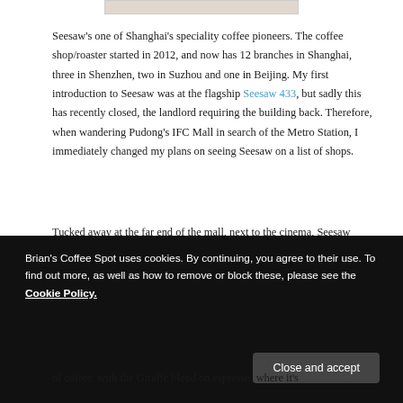[Figure (photo): Partial image visible at top of page, cropped]
Seesaw's one of Shanghai's speciality coffee pioneers. The coffee shop/roaster started in 2012, and now has 12 branches in Shanghai, three in Shenzhen, two in Suzhou and one in Beijing. My first introduction to Seesaw was at the flagship Seesaw 433, but sadly this has recently closed, the landlord requiring the building back. Therefore, when wandering Pudong's IFC Mall in search of the Metro Station, I immediately changed my plans on seeing Seesaw on a list of shops.
Tucked away at the far end of the mall, next to the cinema, Seesaw occupies an open, triangular space. The
Brian's Coffee Spot uses cookies. By continuing, you agree to their use. To find out more, as well as how to remove or block these, please see the Cookie Policy.
Close and accept
of coffee, with the Giraffe blend on espresso, where it's